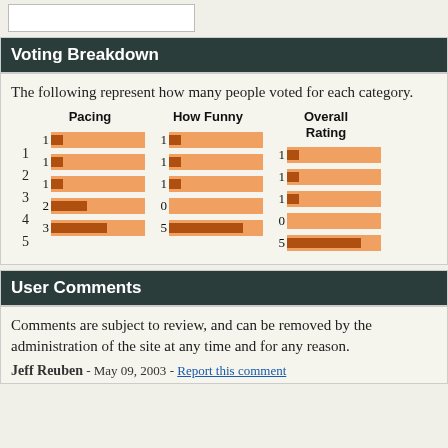Voting Breakdown
The following represent how many people voted for each category.
[Figure (grouped-bar-chart): Voting Breakdown]
User Comments
Comments are subject to review, and can be removed by the administration of the site at any time and for any reason.
Jeff Reuben - May 09, 2003 - Report this comment